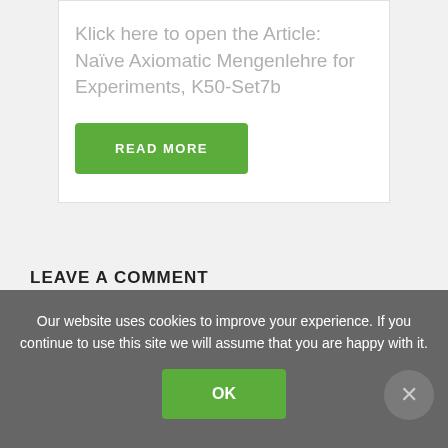Klick here to open the Article: Naïve Axiomatic Mengenlehre for Experiments, K50-Set7b
READ MORE
LEAVE A COMMENT
Our website uses cookies to improve your experience. If you continue to use this site we will assume that you are happy with it.
OK